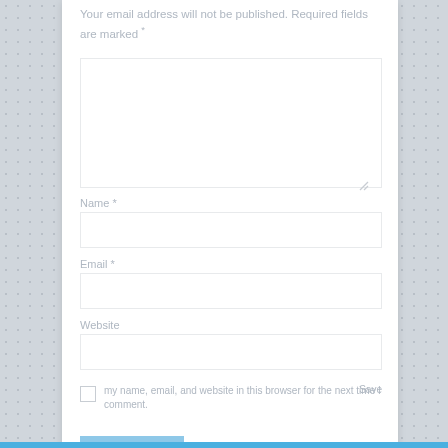Your email address will not be published. Required fields are marked *
Name *
Email *
Website
Save my name, email, and website in this browser for the next time I comment.
Post Comment